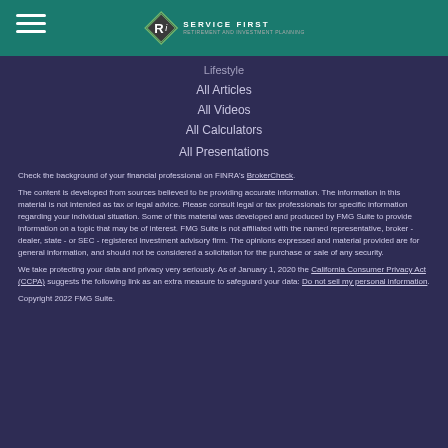Ri Service First
Lifestyle
All Articles
All Videos
All Calculators
All Presentations
Check the background of your financial professional on FINRA's BrokerCheck.
The content is developed from sources believed to be providing accurate information. The information in this material is not intended as tax or legal advice. Please consult legal or tax professionals for specific information regarding your individual situation. Some of this material was developed and produced by FMG Suite to provide information on a topic that may be of interest. FMG Suite is not affiliated with the named representative, broker - dealer, state - or SEC - registered investment advisory firm. The opinions expressed and material provided are for general information, and should not be considered a solicitation for the purchase or sale of any security.
We take protecting your data and privacy very seriously. As of January 1, 2020 the California Consumer Privacy Act (CCPA) suggests the following link as an extra measure to safeguard your data: Do not sell my personal information.
Copyright 2022 FMG Suite.